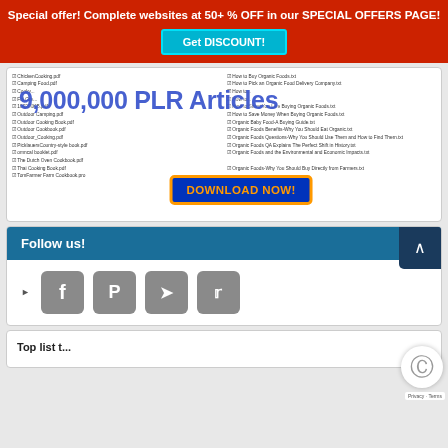Special offer! Complete websites at 50+ % OFF in our SPECIAL OFFERS PAGE!
Get DISCOUNT!
[Figure (screenshot): Screenshot of a PLR article file listing with overlay text '9,000,000 PLR Articles' and a 'DOWNLOAD NOW!' button]
Follow us!
[Figure (infographic): Social media follow icons: Facebook, Pinterest, RSS, Twitter]
Top list t...